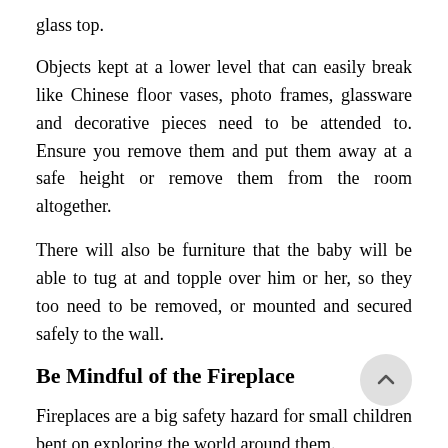glass top.
Objects kept at a lower level that can easily break like Chinese floor vases, photo frames, glassware and decorative pieces need to be attended to. Ensure you remove them and put them away at a safe height or remove them from the room altogether.
There will also be furniture that the baby will be able to tug at and topple over him or her, so they too need to be removed, or mounted and secured safely to the wall.
Be Mindful of the Fireplace
Fireplaces are a big safety hazard for small children bent on exploring the world around them.
Install fire-resistant gates that will keep your little one away from flames and direct heat.